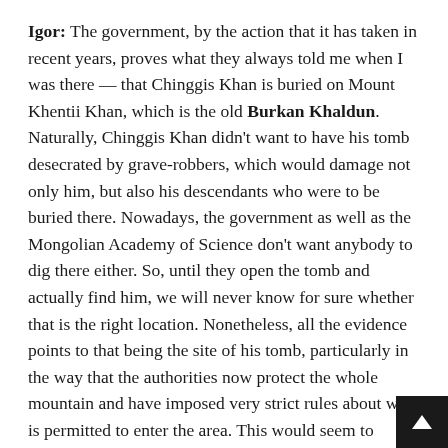Igor: The government, by the action that it has taken in recent years, proves what they always told me when I was there — that Chinggis Khan is buried on Mount Khentii Khan, which is the old Burkan Khaldun. Naturally, Chinggis Khan didn't want to have his tomb desecrated by grave-robbers, which would damage not only him, but also his descendants who were to be buried there. Nowadays, the government as well as the Mongolian Academy of Science don't want anybody to dig there either. So, until they open the tomb and actually find him, we will never know for sure whether that is the right location. Nonetheless, all the evidence points to that being the site of his tomb, particularly in the way that the authorities now protect the whole mountain and have imposed very strict rules about who is permitted to enter the area. This would seem to indicate that Chinggis Khan and the other members of his family, including Kublai Khagan, are buried there. People are still looking in other places. Regardless, Chinggis Khan has done a good job of attracting attention without being officially discovered.